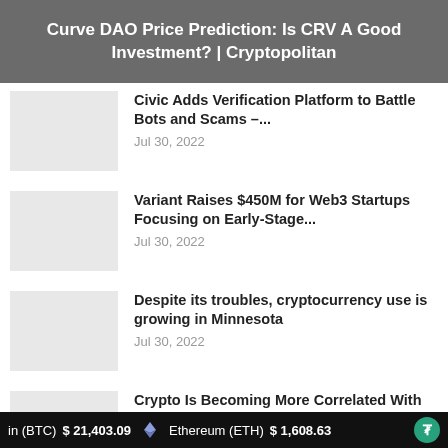Curve DAO Price Prediction: Is CRV A Good Investment? | Cryptopolitan
Civic Adds Verification Platform to Battle Bots and Scams –...
Jul 30, 2022
Variant Raises $450M for Web3 Startups Focusing on Early-Stage...
Jul 30, 2022
Despite its troubles, cryptocurrency use is growing in Minnesota
Jul 30, 2022
Crypto Is Becoming More Correlated With Forex Trends. Here's How...
in (BTC)   $21,403.09   Ethereum (ETH)   $1,608.63